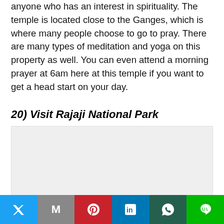anyone who has an interest in spirituality. The temple is located close to the Ganges, which is where many people choose to go to pray. There are many types of meditation and yoga on this property as well. You can even attend a morning prayer at 6am here at this temple if you want to get a head start on your day.
20) Visit Rajaji National Park
[Figure (photo): Placeholder image area for Rajaji National Park photo]
Twitter | Gmail | Pinterest | LinkedIn | WhatsApp | Line